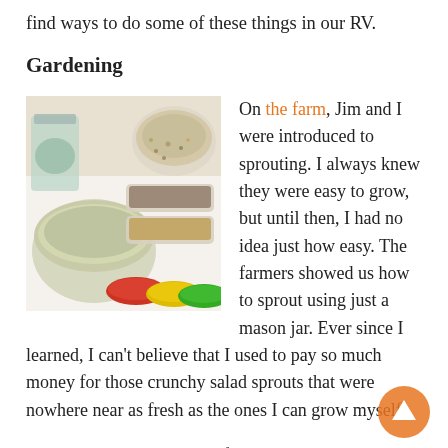find ways to do some of these things in our RV.
Gardening
[Figure (photo): Photo of various sprouting seeds in bowls and trays — mason jar with sprouts, bowls of seeds including green and mixed seeds, small containers with brown and golden seeds, colorful red, yellow, and green sprouting lids/strainers on a white surface.]
On the farm, Jim and I were introduced to sprouting. I always knew they were easy to grow, but until then, I had no idea just how easy. The farmers showed us how to sprout using just a mason jar. Ever since I learned, I can't believe that I used to pay so much money for those crunchy salad sprouts that were nowhere near as fresh as the ones I can grow myself.
Seeing them grow in just a few days on our kitchen counter is almost as satisfying as watching tiny